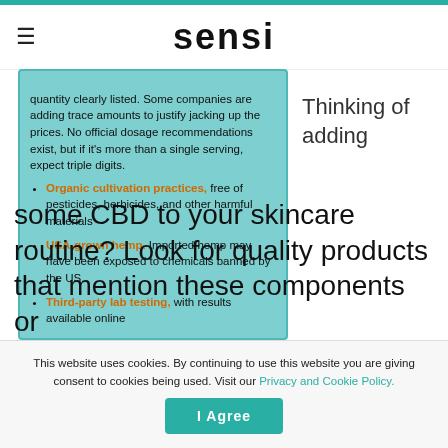sensi
quantity clearly listed. Some companies are adding trace amounts to justify jacking up the prices. No official dosage recommendations exist, but if it's more than a single serving, expect triple digits.
Organic cultivation practices, free of pesticides, herbicides, and other harmful materials
USA-grown hemp. Imported hemp may have been exposed to chemicals banned by the US.
Third-party lab testing, with results available online
Thinking of adding
some CBD to your skincare routine? Look for quality products that mention these components or
This website uses cookies. By continuing to use this website you are giving consent to cookies being used. Visit our Privacy and Cookie Policy.